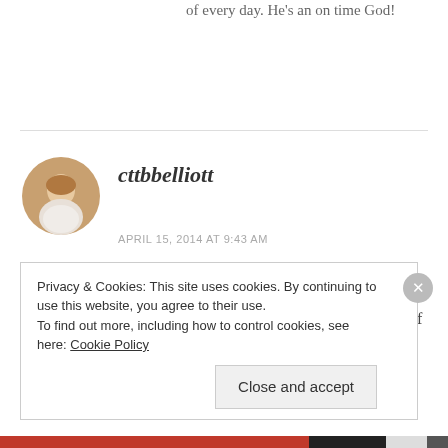of every day. He's an on time God!
cttbbelliott
APRIL 15, 2014 AT 9:43 AM
I have let go and let God so many times regarding my kids and their adamant attitude of not needing that stuff in their lives, as they put it. I
Privacy & Cookies: This site uses cookies. By continuing to use this website, you agree to their use.
To find out more, including how to control cookies, see here: Cookie Policy
Close and accept